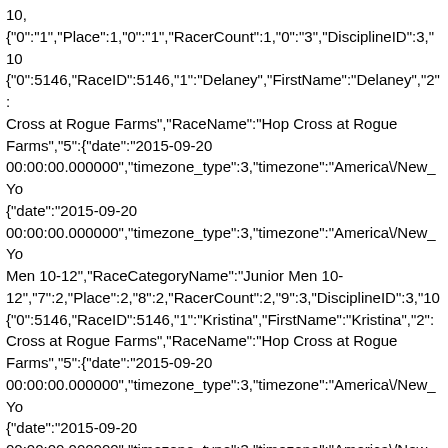10,{"0":"1","Place":1,"0":"1","RacerCount":1,"0":"3","DisciplineID":3,"10 {"0":5146,"RaceID":5146,"1":"Delaney","FirstName":"Delaney","2": Cross at Rogue Farms","RaceName":"Hop Cross at Rogue Farms","5":{"date":"2015-09-20 00:00:00.000000","timezone_type":3,"timezone":"America\/New_Yo {"date":"2015-09-20 00:00:00.000000","timezone_type":3,"timezone":"America\/New_Yo Men 10-12","RaceCategoryName":"Junior Men 10-12","7":2,"Place":2,"8":2,"RacerCount":2,"9":3,"DisciplineID":3,"10 {"0":5146,"RaceID":5146,"1":"Kristina","FirstName":"Kristina","2" Cross at Rogue Farms","RaceName":"Hop Cross at Rogue Farms","5":{"date":"2015-09-20 00:00:00.000000","timezone_type":3,"timezone":"America\/New_Yo {"date":"2015-09-20 00:00:00.000000","timezone_type":3,"timezone":"America\/New_Yo Women","RaceCategoryName":"Beginner Women","7":1,"Place":1,"8":9,"RacerCount":9,"9":3,"DisciplineID": {"0":5146,"RaceID":5146,"1":"Linnea","FirstName":"Linnea","2":" Cross at Rogue Farms","RaceName":"Hop Cross at Rogue Farms","5":{"date":"2015-09-20 00:00:00.000000","timezone_type":3,"timezone":"America\/New_Yo {"date":"2015-09-20 00:00:00.000000","timezone_type":3,"timezone":"America\/New_Yo Women","RaceCategoryName":"Beginner Women","7":6,"Place":6,"8":9,"RacerCount":9,"9":3,"DisciplineID" {"0":5146,"RaceID":5146,"1":"Linnea","FirstName":"Linnea","2":